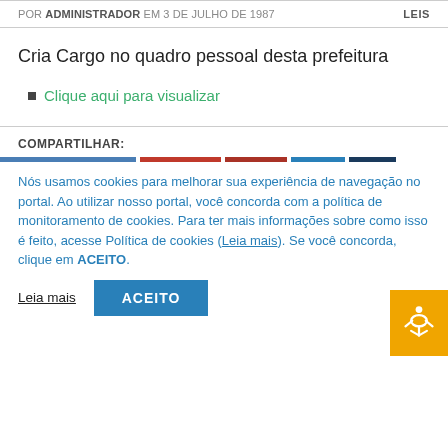POR ADMINISTRADOR EM 3 DE JULHO DE 1987   LEIS
Cria Cargo no quadro pessoal desta prefeitura
Clique aqui para visualizar
COMPARTILHAR:
Nós usamos cookies para melhorar sua experiência de navegação no portal. Ao utilizar nosso portal, você concorda com a política de monitoramento de cookies. Para ter mais informações sobre como isso é feito, acesse Política de cookies (Leia mais). Se você concorda, clique em ACEITO.
Leia mais   ACEITO